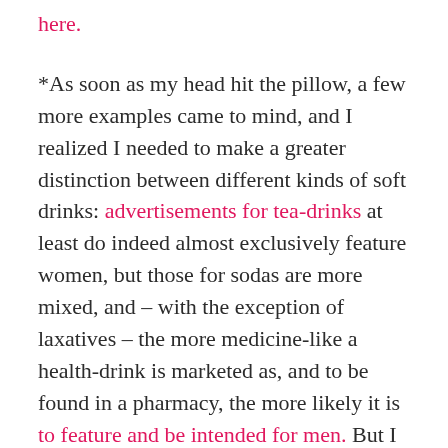here.
*As soon as my head hit the pillow, a few more examples came to mind, and I realized I needed to make a greater distinction between different kinds of soft drinks: advertisements for tea-drinks at least do indeed almost exclusively feature women, but those for sodas are more mixed, and – with the exception of laxatives – the more medicine-like a health-drink is marketed as, and to be found in a pharmacy, the more likely it is to feature and be intended for men. But I think the distinction I identify in the text is still generally true, and as further evidence for